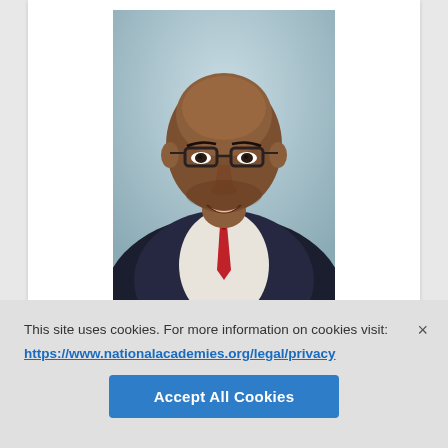[Figure (photo): Headshot of a bald man wearing glasses, a dark suit jacket, white striped shirt, and red tie, posed against a light blue-gray background.]
This site uses cookies. For more information on cookies visit:
https://www.nationalacademies.org/legal/privacy
Accept All Cookies